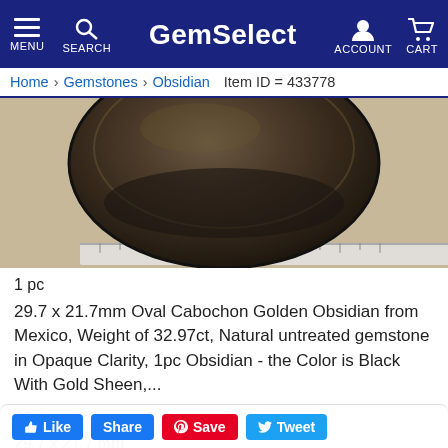GemSelect — MENU SEARCH ACCOUNT CART
Home > Gemstones > Obsidian > Item ID = 433778
[Figure (photo): Close-up photo of a large oval cabochon Golden Obsidian gemstone with black and golden sheen surface, placed on a ruler]
1 pc
29.7 x 21.7mm Oval Cabochon Golden Obsidian from Mexico, Weight of 32.97ct, Natural untreated gemstone in Opaque Clarity, 1pc Obsidian - the Color is Black With Gold Sheen,...
33ct
29.7 x 21.7 mm
$ 36.37